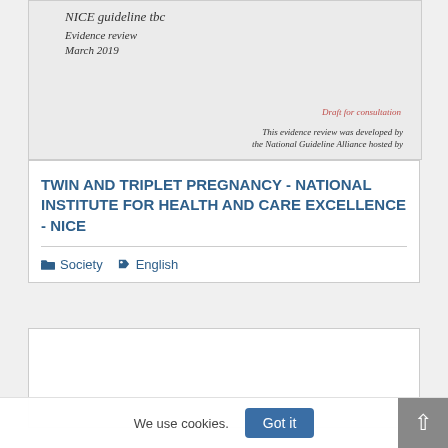[Figure (screenshot): Thumbnail of NICE guideline document cover showing 'NICE guideline tbc', 'Evidence review', 'March 2019', 'Draft for consultation', and 'This evidence review was developed by the National Guideline Alliance hosted by']
TWIN AND TRIPLET PREGNANCY - NATIONAL INSTITUTE FOR HEALTH AND CARE EXCELLENCE - NICE
Society   English
[Figure (screenshot): Partial view of a second search result card, content not visible]
We use cookies.
Got it